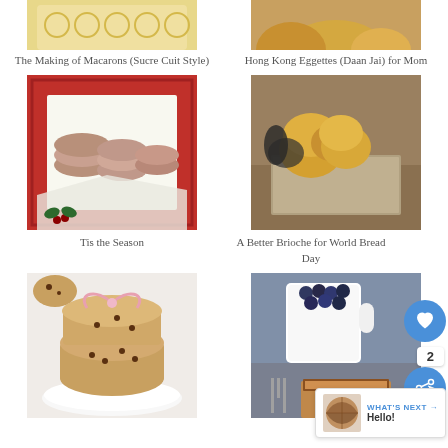[Figure (photo): Top portion of macaron box with yellow patterned background, partially cropped at top]
[Figure (photo): Hong Kong egg waffles (eggettes) partially cropped at top, golden brown]
The Making of Macarons (Sucre Cuit Style)
Hong Kong Eggettes (Daan Jai) for Mom
[Figure (photo): Macarons in red gift box with tissue paper and holly decoration]
[Figure (photo): Brioche rolls on a linen napkin, golden brown]
Tis the Season
A Better Brioche for World Bread Day
[Figure (photo): Chocolate chip cookies stacked and tied with pink ribbon on white plate]
[Figure (photo): Cup of blueberries, fig and chocolate tart on blue background]
[Figure (photo): Striped chocolate ball thumbnail for What's Next]
WHAT'S NEXT → Hello!